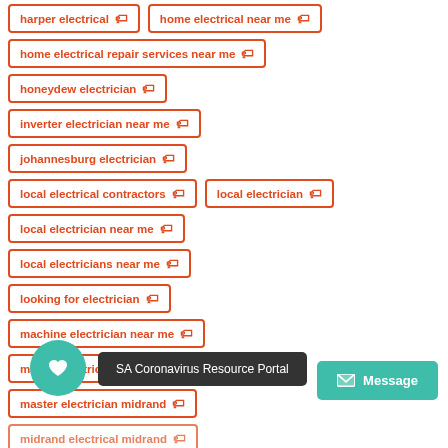harper electrical
home electrical near me
home electrical repair services near me
honeydew electrician
inverter electrician near me
johannesburg electrician
local electrical contractors
local electrician
local electrician near me
local electricians near me
looking for electrician
machine electrician near me
master electrician coc
master electrician midrand
midrand electrical midrand
midrand electrician
midrand electricians
SA Coronavirus Resource Portal
Message